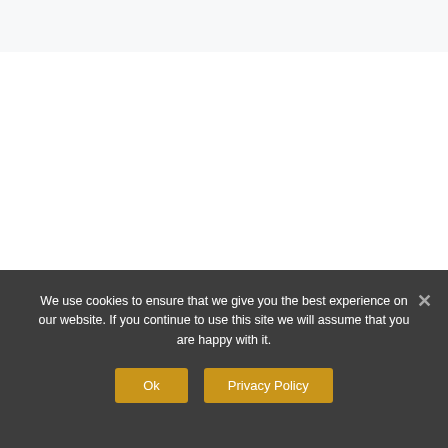We use cookies to ensure that we give you the best experience on our website. If you continue to use this site we will assume that you are happy with it.
Ok
Privacy Policy